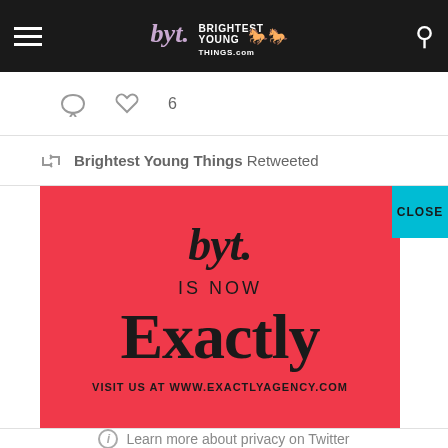Brightest Young Things - byt. navigation bar
[Figure (screenshot): Social media icons - comment bubble and heart with count 6]
Brightest Young Things Retweeted
[Figure (advertisement): Red advertisement banner: byt. IS NOW Exactly - VISIT US AT WWW.EXACTLYAGENCY.COM, with a cyan CLOSE button]
Learn more about privacy on Twitter